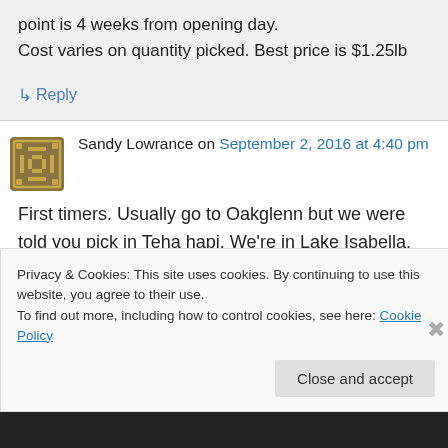point is 4 weeks from opening day.
Cost varies on quantity picked. Best price is $1.25lb
↳ Reply
Sandy Lowrance on September 2, 2016 at 4:40 pm
First timers. Usually go to Oakglenn but we were told you pick in Teha hapi. We're in Lake Isabella. What do you charge per pound?. My
Privacy & Cookies: This site uses cookies. By continuing to use this website, you agree to their use.
To find out more, including how to control cookies, see here: Cookie Policy
Close and accept